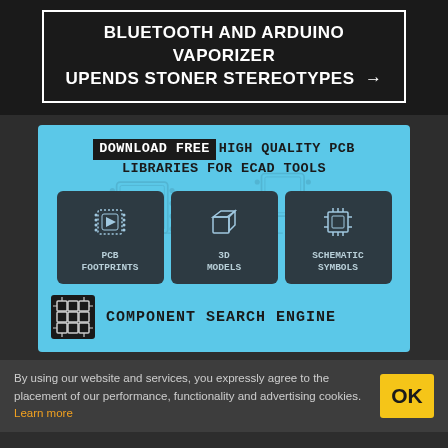BLUETOOTH AND ARDUINO VAPORIZER UPENDS STONER STEREOTYPES →
[Figure (infographic): Advertisement for PCB library download service showing three icon cards (PCB Footprints, 3D Models, Schematic Symbols) and a Component Search Engine logo on a light blue background with PCB art watermark. Text: DOWNLOAD FREE HIGH QUALITY PCB LIBRARIES FOR ECAD TOOLS]
By using our website and services, you expressly agree to the placement of our performance, functionality and advertising cookies. Learn more